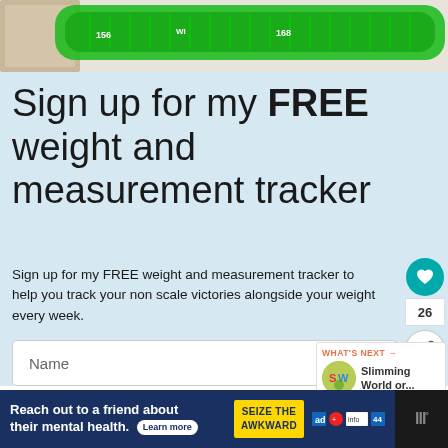[Figure (photo): Photo of a green measuring tape on a light wooden background, viewed from above.]
Sign up for my FREE weight and measurement tracker
Sign up for my FREE weight and measurement tracker to help you track your non scale victories alongside your weight every week.
Name
Email
WHAT'S NEXT → Slimming World or...
[Figure (photo): Social share and like sidebar with heart icon showing count 26 and a share button.]
Reach out to a friend about their mental health. Learn more SEIZE THE AWKWARD